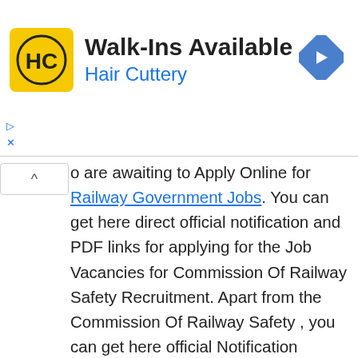[Figure (logo): Hair Cuttery advertisement banner with HC logo (yellow background, black HC letters), Walk-Ins Available text, Hair Cuttery subtitle, and blue diamond arrow icon]
o are awaiting to Apply Online for Railway Government Jobs. You can get here direct official notification and PDF links for applying for the Job Vacancies for Commission Of Railway Safety Recruitment. Apart from the Commission Of Railway Safety , you can get here official Notification updates for other government Departments in Railway for the year 2020-21. Apply here for Careers and Jobs in Commission Of Railway Safety: Commission Of Railway Safety. Apply for Railway Government Jobs for 10th, 12th pass, Graduate/Graduation, Diploma/Degree holders, B.E/B.tech/M.Tech, MCA, MBBS, B.Sc, M.Sc, B.Com, M.Com, Post Graduation (PG), and PhD